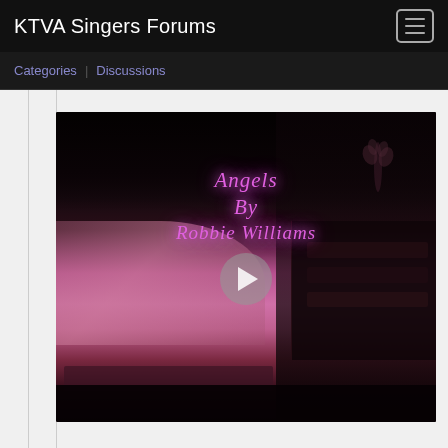KTVA Singers Forums
Categories | Discussions
[Figure (screenshot): Video thumbnail showing a piano being played in a dimly lit room with pink/purple lighting. Text overlay reads 'Angels By Robbie Williams' in glowing purple italic font. A circular play button is centered on the video.]